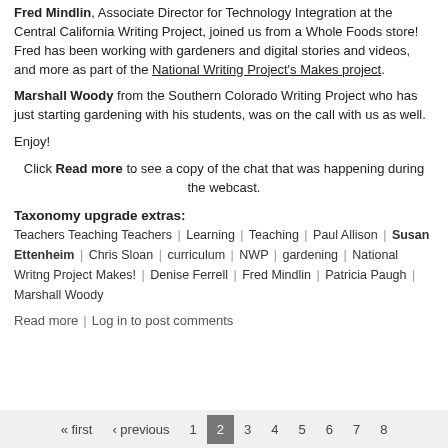Fred Mindlin, Associate Director for Technology Integration at the Central California Writing Project, joined us from a Whole Foods store! Fred has been working with gardeners and digital stories and videos, and more as part of the National Writing Project's Makes project.
Marshall Woody from the Southern Colorado Writing Project who has just starting gardening with his students, was on the call with us as well.
Enjoy!
Click Read more to see a copy of the chat that was happening during the webcast.
Taxonomy upgrade extras:
Teachers Teaching Teachers | Learning | Teaching | Paul Allison | Susan Ettenheim | Chris Sloan | curriculum | NWP | gardening | National Writng Project Makes! | Denise Ferrell | Fred Mindlin | Patricia Paugh | Marshall Woody
Read more | Log in to post comments
« first ‹ previous 1 2 3 4 5 6 7 8